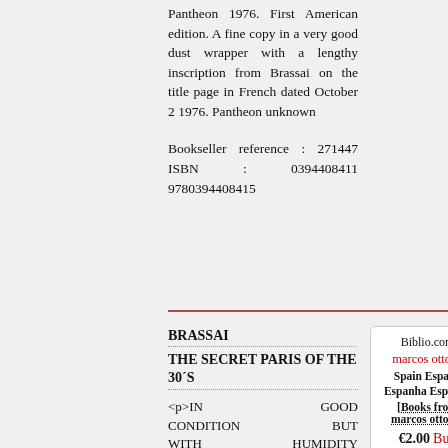Pantheon 1976. First American edition. A fine copy in a very good dust wrapper with a lengthy inscription from Brassai on the title page in French dated October 2 1976. Pantheon unknown
Bookseller reference : 271447 ISBN : 0394408411 9780394408415
BRASSAI
THE SECRET PARIS OF THE 30´S
<p>IN GOOD CONDITION BUT WITH HUMIDITY MARKS OF THE LOW PART OF THE BOOK</p> THAMES AND HUDSON hardcover
Biblio.com marcos ottone Spain España Espanha Espagne [Books from marcos ottone] €2.00 Buy